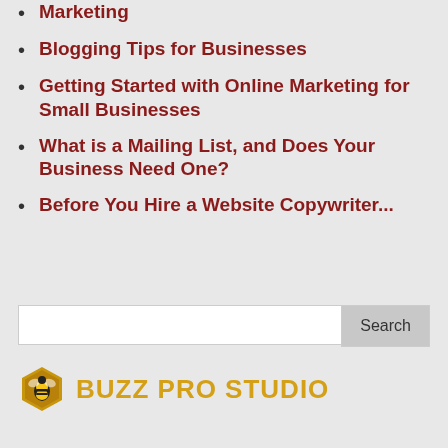Marketing
Blogging Tips for Businesses
Getting Started with Online Marketing for Small Businesses
What is a Mailing List, and Does Your Business Need One?
Before You Hire a Website Copywriter...
[Figure (other): Search box with a white input field and a grey Search button]
[Figure (logo): Buzz Pro Studio logo with a hexagonal bee icon in dark gold and the text BUZZ PRO STUDIO in gold/yellow]